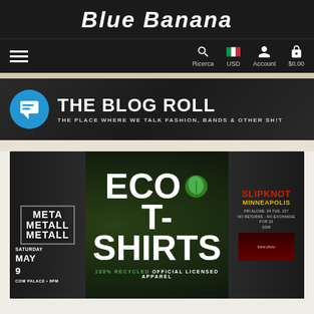Blue Banana
[Figure (screenshot): Navigation bar with hamburger menu, search icon (Ricerca), USD currency flag, Account icon, and $0.00 cart]
[Figure (screenshot): The Blog Roll banner - THE PLACE WHERE WE TALK FASHION, BANDS & OTHER SH!T with blue speech bubble icon]
[Figure (screenshot): Eco T-Shirts promotional banner showing metal band t-shirts, ECO T-SHIRTS text with green leaf logo, 100% RECYCLED OFFICIAL LICENSED APPAREL, Slipknot Minneapolis shirt on right]